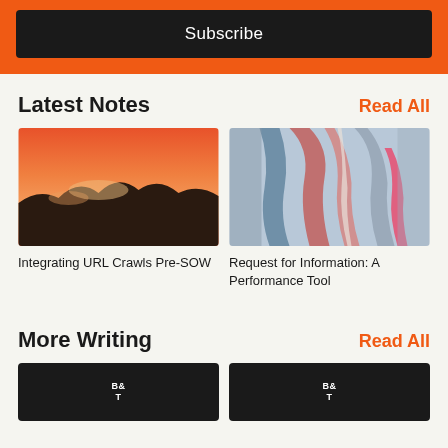[Figure (other): Orange subscribe banner with dark Subscribe button]
Latest Notes
Read All
[Figure (photo): Sunset/orange sky with dark cloud silhouette]
[Figure (illustration): Abstract colorful shapes in blue, red, pink tones]
Integrating URL Crawls Pre-SOW
Request for Information: A Performance Tool
More Writing
Read All
[Figure (logo): Dark card with white logo text]
[Figure (logo): Dark card with white logo text]